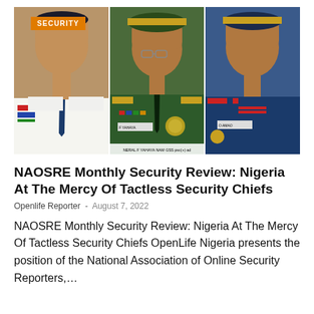[Figure (photo): Three Nigerian military officers in uniform side by side. Left officer in white uniform with blue tie. Center officer in green military uniform with cap and glasses, name tag reads NERAL F YAHAYA NAM GSS psc(+) ad. Right officer in blue uniform. A orange 'SECURITY' badge label overlays the top-left.]
NAOSRE Monthly Security Review: Nigeria At The Mercy Of Tactless Security Chiefs
Openlife Reporter  -  August 7, 2022
NAOSRE Monthly Security Review: Nigeria At The Mercy Of Tactless Security Chiefs OpenLife Nigeria presents the position of the National Association of Online Security Reporters,…